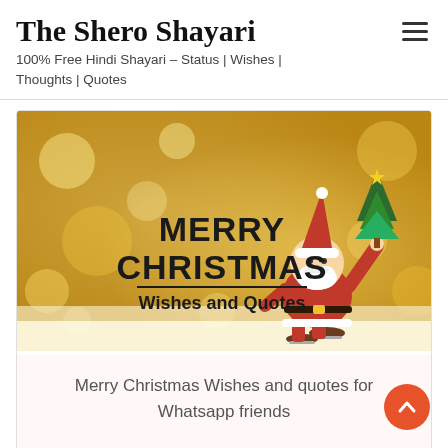The Shero Shayari
100% Free Hindi Shayari – Status | Wishes | Thoughts | Quotes
[Figure (illustration): Merry Christmas banner with golden bokeh background, Santa Claus figurine on ice skates holding a Christmas tree, bold text reading MERRY CHRISTMAS Wishes and Quotes]
Merry Christmas Wishes and quotes for Whatsapp friends